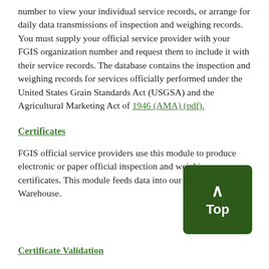number to view your individual service records, or arrange for daily data transmissions of inspection and weighing records.  You must supply your official service provider with your FGIS organization number and request them to include it with their service records. The database contains the inspection and weighing records for services officially performed under the United States Grain Standards Act (USGSA) and the Agricultural Marketing Act of 1946 (AMA) (pdf).
Certificates
FGIS official service providers use this module to produce electronic or paper official inspection and weighing certificates. This module feeds data into our Inspection Data Warehouse.
[Figure (other): Dark green rounded rectangle button with upward-pointing chevron/caret symbol and the word 'Top' in white text]
Certificate Validation